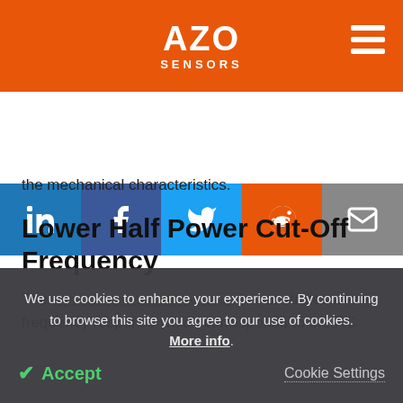AZO SENSORS
the mechanical characteristics.
Lower Half Power Cut-Off Frequency
The crystal-type accelerometer demonstrates a low frequency response which corresponds to the RC
We use cookies to enhance your experience. By continuing to browse this site you agree to our use of cookies. More info. Accept Cookie Settings